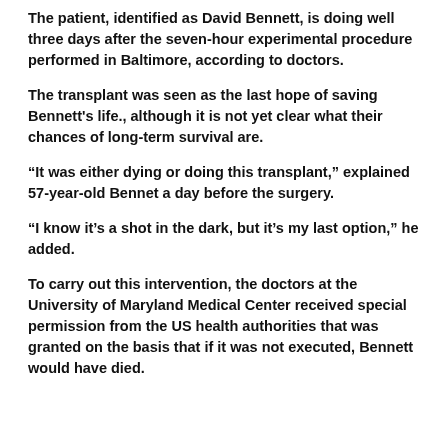The patient, identified as David Bennett, is doing well three days after the seven-hour experimental procedure performed in Baltimore, according to doctors.
The transplant was seen as the last hope of saving Bennett's life., although it is not yet clear what their chances of long-term survival are.
“It was either dying or doing this transplant,” explained 57-year-old Bennet a day before the surgery.
“I know it’s a shot in the dark, but it’s my last option,” he added.
To carry out this intervention, the doctors at the University of Maryland Medical Center received special permission from the US health authorities that was granted on the basis that if it was not executed, Bennett would have died.